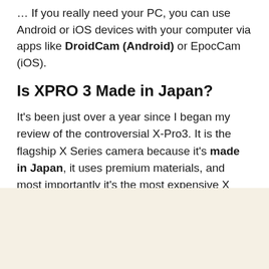… If you really need your PC, you can use Android or iOS devices with your computer via apps like DroidCam (Android) or EpocCam (iOS).
Is XPRO 3 Made in Japan?
It's been just over a year since I began my review of the controversial X-Pro3. It is the flagship X Series camera because it's made in Japan, it uses premium materials, and most importantly it's the most expensive X Series interchangeable lens camera body at just under $2000 USD (for the optional Dura finishes).